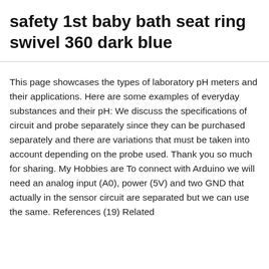safety 1st baby bath seat ring swivel 360 dark blue
This page showcases the types of laboratory pH meters and their applications. Here are some examples of everyday substances and their pH: We discuss the specifications of circuit and probe separately since they can be purchased separately and there are variations that must be taken into account depending on the probe used. Thank you so much for sharing. My Hobbies are To connect with Arduino we will need an analog input (A0), power (5V) and two GND that actually in the sensor circuit are separated but we can use the same. References (19) Related